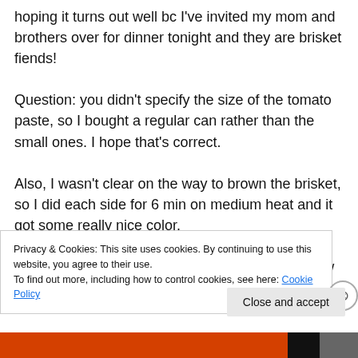hoping it turns out well bc I've invited my mom and brothers over for dinner tonight and they are brisket fiends! Question: you didn't specify the size of the tomato paste, so I bought a regular can rather than the small ones. I hope that's correct. Also, I wasn't clear on the way to brown the brisket, so I did each side for 6 min on medium heat and it got some really nice color. This recipe looks promising! Will let you know how it turns out!
Privacy & Cookies: This site uses cookies. By continuing to use this website, you agree to their use. To find out more, including how to control cookies, see here: Cookie Policy